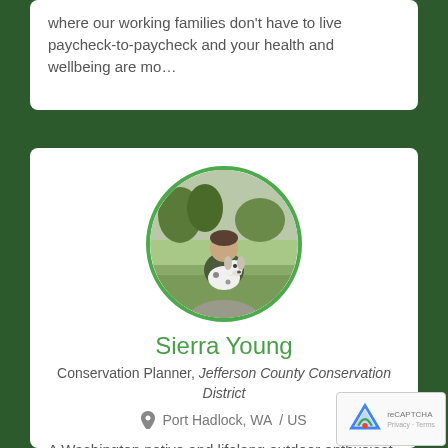where our working families don't have to live paycheck-to-paycheck and your health and wellbeing are mo…
[Figure (photo): Circular profile photo of Sierra Young holding a dalmatian puppy outdoors with trees in background, framed with green border]
Sierra Young
Conservation Planner, Jefferson County Conservation District
Port Hadlock, WA / US
A Washington native and lifelong outdoor enthusiast, Sierra joined the Jefferson…